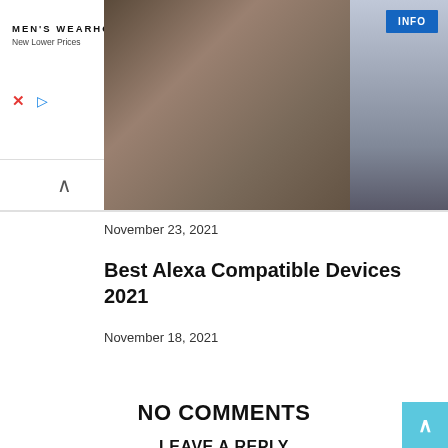[Figure (screenshot): Men's Wearhouse advertisement banner with couple in formal wear and a man in suit, with INFO button]
November 23, 2021
Best Alexa Compatible Devices 2021
November 18, 2021
NO COMMENTS
LEAVE A REPLY
Comment: